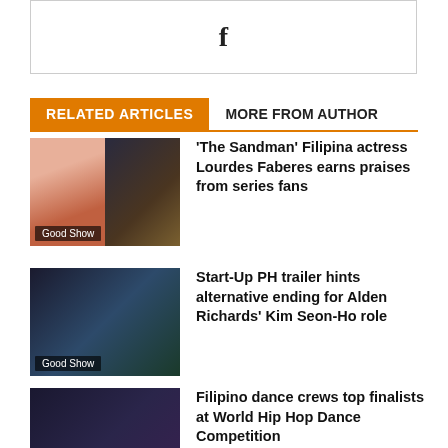[Figure (other): Facebook social share button box with 'f' icon]
RELATED ARTICLES | MORE FROM AUTHOR
[Figure (photo): Thumbnail image for article about Lourdes Faberes with 'Good Show' label]
‘The Sandman’ Filipina actress Lourdes Faberes earns praises from series fans
[Figure (photo): Thumbnail image for Start-Up PH trailer article with 'Good Show' label]
Start-Up PH trailer hints alternative ending for Alden Richards’ Kim Seon-Ho role
[Figure (photo): Thumbnail image for Filipino dance crews article with 'Good Show' label]
Filipino dance crews top finalists at World Hip Hop Dance Competition